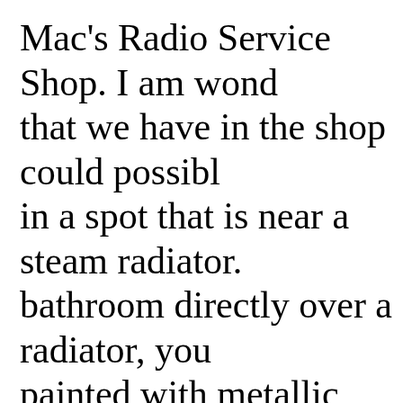Mac's Radio Service Shop. I am wond that we have in the shop could possibl in a spot that is near a steam radiator. bathroom directly over a radiator, you painted with metallic paint? It is? Wel that you try to find some other positio it bad to have your set in a spot where warm, but in this case tiny particles of being carried upward from your radiat